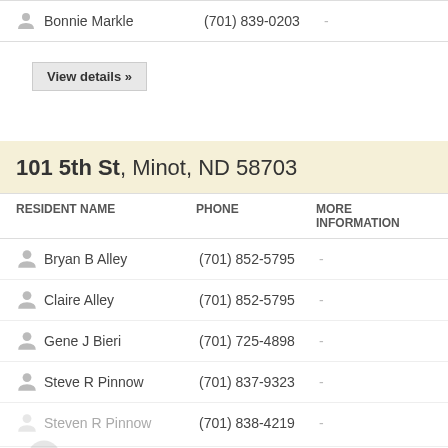Bonnie Markle  (701) 839-0203  -
View details »
101 5th St, Minot, ND 58703
| RESIDENT NAME | PHONE | MORE INFORMATION |
| --- | --- | --- |
| Bryan B Alley | (701) 852-5795 | - |
| Claire Alley | (701) 852-5795 | - |
| Gene J Bieri | (701) 725-4898 | - |
| Steve R Pinnow | (701) 837-9323 | - |
| Steven R Pinnow | (701) 838-4219 | - |
View details »